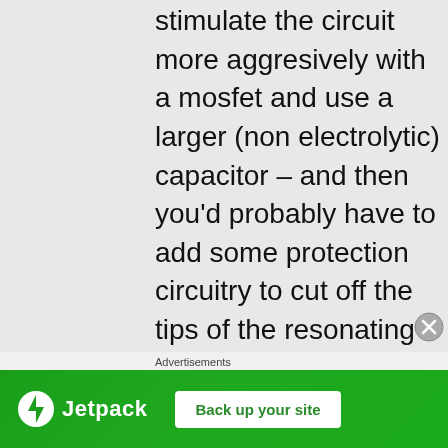stimulate the circuit more aggresively with a mosfet and use a larger (non electrolytic) capacitor – and then you'd probably have to add some protection circuitry to cut off the tips of the resonating sinusoid (you don't care about those anyway, just 0volt intersection). If this is gibberish then look around for one of the drive through sensor boxes :P
http://vehicle-counters.com/TC-BL44.htm
you could also get a weather proof ultrasonic sensor and have it pointed at where the car will be.
Advertisements
[Figure (infographic): Jetpack advertisement banner with green background, Jetpack logo on left and 'Back up your site' button on right]